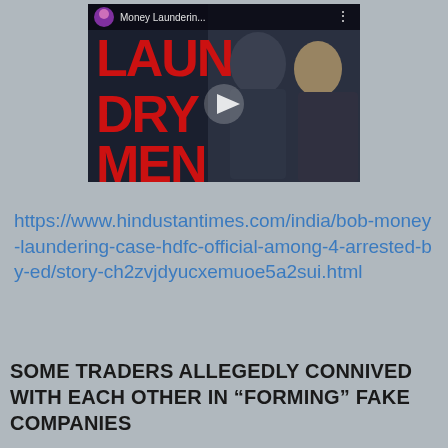[Figure (screenshot): YouTube video thumbnail showing a movie/show titled 'Money Launderin...' with two actors (a man and a woman) and large red text reading LAUNDRY MEN on a dark background. A play button is visible in the center.]
https://www.hindustantimes.com/india/bob-money-laundering-case-hdfc-official-among-4-arrested-by-ed/story-ch2zvjdyucxemuoe5a2sui.html
SOME TRADERS ALLEGEDLY CONNIVED WITH EACH OTHER IN “FORMING” FAKE COMPANIES